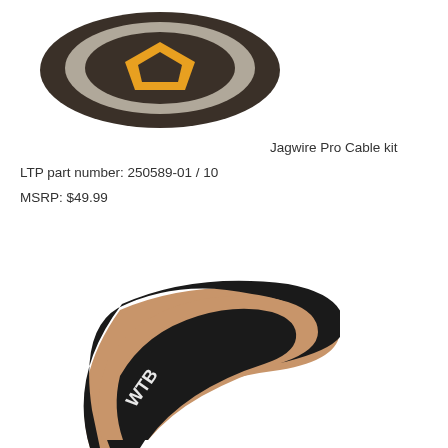[Figure (photo): Jagwire Pro Cable kit product image showing the cable kit packaging with black, grey, and orange/yellow colors, viewed from the front]
Jagwire Pro Cable kit
LTP part number: 250589-01 / 10
MSRP: $49.99
[Figure (photo): WTB bicycle tire shown at an angle, featuring a black tread with tan/brown sidewall, with WTB branding visible on the side]